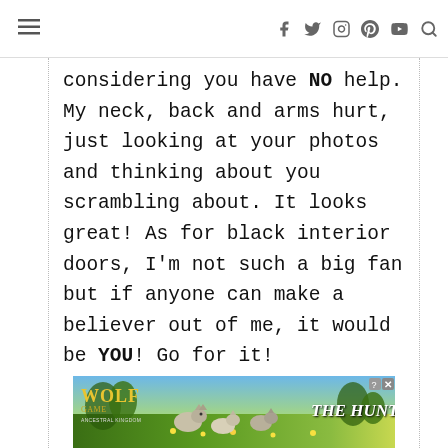≡  f  Twitter  Instagram  Pinterest  YouTube  Search
considering you have NO help. My neck, back and arms hurt, just looking at your photos and thinking about you scrambling about. It looks great! As for black interior doors, I'm not such a big fan but if anyone can make a believer out of me, it would be YOU! Go for it!
[Figure (photo): Wolf Game advertisement banner with wolves in a meadow and text 'THE HUNT IS ON!']